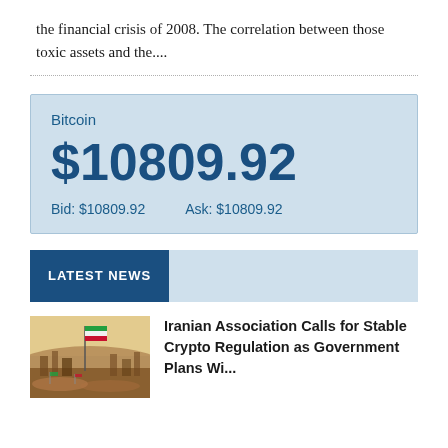the financial crisis of 2008. The correlation between those toxic assets and the....
| Bitcoin | Price | Bid | Ask |
| --- | --- | --- | --- |
| Bitcoin | $10809.92 | Bid: $10809.92 | Ask: $10809.92 |
LATEST NEWS
[Figure (photo): Thumbnail photo showing an outdoor scene with flags, likely Iranian flag visible, cityscape in background with warm earthy tones.]
Iranian Association Calls for Stable Crypto Regulation as Government Plans Wi...